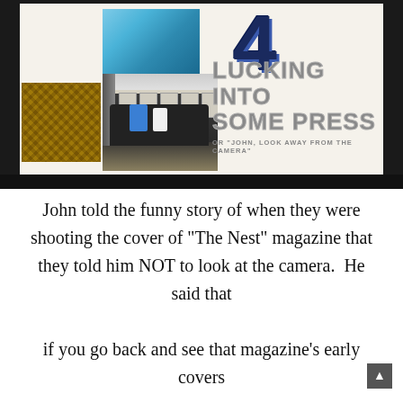[Figure (screenshot): A presentation slide showing the number '4' in large dark blue bold font, with the title 'LUCKING INTO SOME PRESS' in large grey outlined uppercase text, and subtitle 'OR "JOHN, LOOK AWAY FROM THE CAMERA"'. On the left side are three interior design images: a teal/geometric ceiling, a green patterned fabric swatch, and a dark sofa in a living room setting. The slide has a beige/cream background.]
John told the funny story of when they were shooting the cover of "The Nest" magazine that they told him NOT to look at the camera.  He said that if you go back and see that magazine's early covers that you can discern that they never